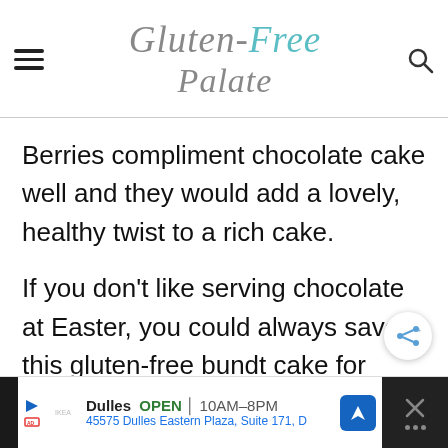Gluten-Free Palate
Berries compliment chocolate cake well and they would add a lovely, healthy twist to a rich cake.
If you don't like serving chocolate at Easter, you could always save this gluten-free bundt cake for Mothers Day, or a Sunday brunch.
Dulles OPEN 10AM–8PM 45575 Dulles Eastern Plaza, Suite 171, D